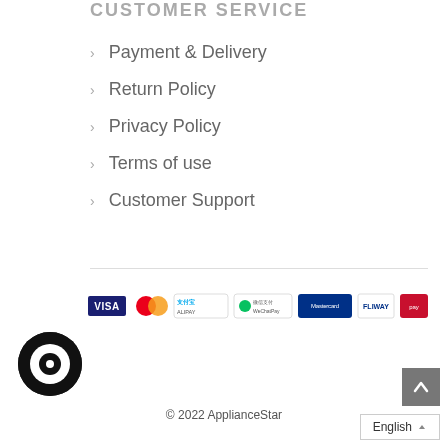CUSTOMER SERVICE
Payment & Delivery
Return Policy
Privacy Policy
Terms of use
Customer Support
[Figure (logo): Payment method logos: VISA, Mastercard, Alipay, WeChat Pay, Mastercard Securecode, FLIWAY, and one more provider]
[Figure (logo): ApplianceStar circular logo icon (black ring with circle)]
© 2022 ApplianceStar